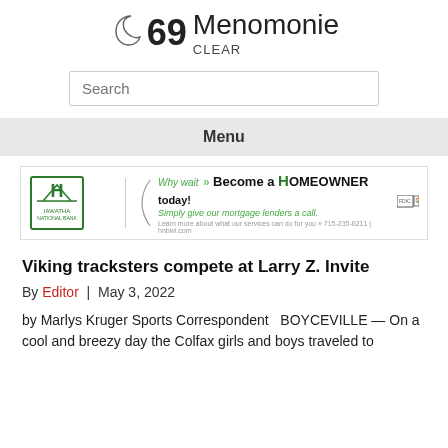69 Menomonie CLEAR
Search
Menu
[Figure (other): Hiawatha National Bank advertisement banner: logo with tree and H, slogan 'Why wait >> Become a HOMEOWNER today! Simply give our mortgage lenders a call.' FDIC logo at right.]
Viking tracksters compete at Larry Z. Invite
By Editor | May 3, 2022
by Marlys Kruger Sports Correspondent  BOYCEVILLE — On a cool and breezy day the Colfax girls and boys traveled to Boyceville to compete in the Larry Z. Invite Invitational Track and